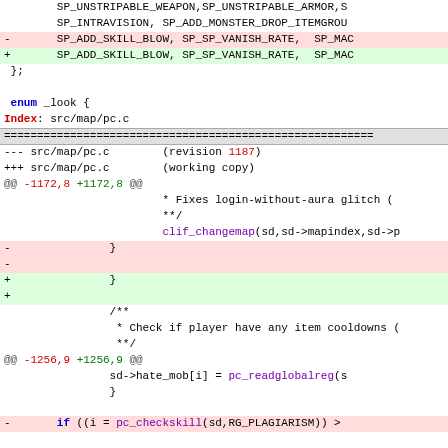Code diff showing changes to src/map/pc.c — enum _look definition, clif_changemap call, pc_readglobalreg call, pc_checkskill call with revision 1187